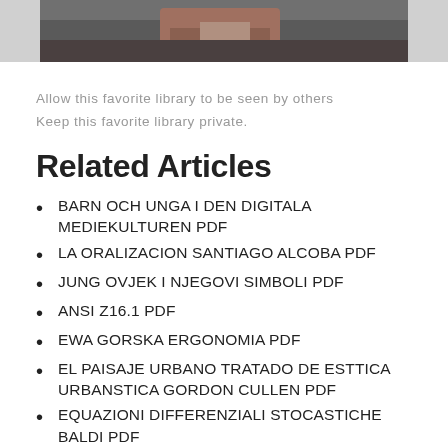[Figure (photo): Partial photo of a person with hands folded, cropped at top of page]
Allow this favorite library to be seen by others
Keep this favorite library private.
Related Articles
BARN OCH UNGA I DEN DIGITALA MEDIEKULTUREN PDF
LA ORALIZACION SANTIAGO ALCOBA PDF
JUNG OVJEK I NJEGOVI SIMBOLI PDF
ANSI Z16.1 PDF
EWA GORSKA ERGONOMIA PDF
EL PAISAJE URBANO TRATADO DE ESTTICA URBANSTICA GORDON CULLEN PDF
EQUAZIONI DIFFERENZIALI STOCASTICHE BALDI PDF
INFORMATICA UNA PANORAMICA GENERALE (partial, cut off)